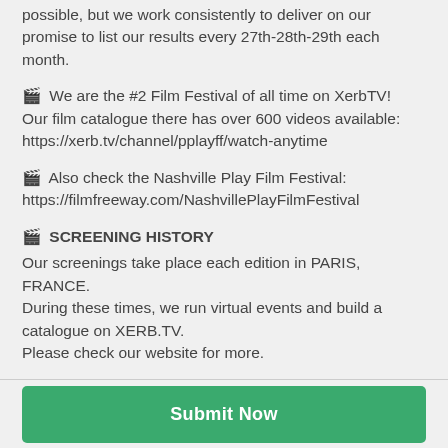possible, but we work consistently to deliver on our promise to list our results every 27th-28th-29th each month.
🎬 We are the #2 Film Festival of all time on XerbTV! Our film catalogue there has over 600 videos available: https://xerb.tv/channel/pplayff/watch-anytime
🎬 Also check the Nashville Play Film Festival: https://filmfreeway.com/NashvillePlayFilmFestival
🎬 SCREENING HISTORY
Our screenings take place each edition in PARIS, FRANCE. During these times, we run virtual events and build a catalogue on XERB.TV.
Please check our website for more.
2019 took place at LE MAJESTIC BASTILLE.
Submit Now